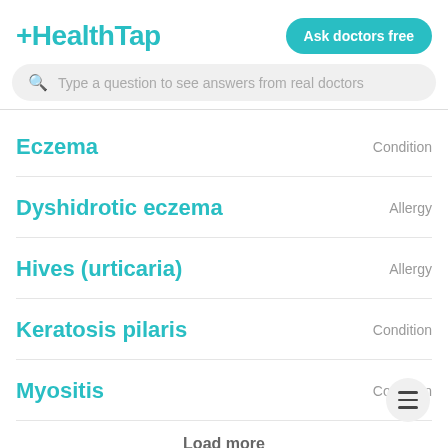+HealthTap
Ask doctors free
Type a question to see answers from real doctors
Eczema — Condition
Dyshidrotic eczema — Allergy
Hives (urticaria) — Allergy
Keratosis pilaris — Condition
Myositis — Condition
Load more